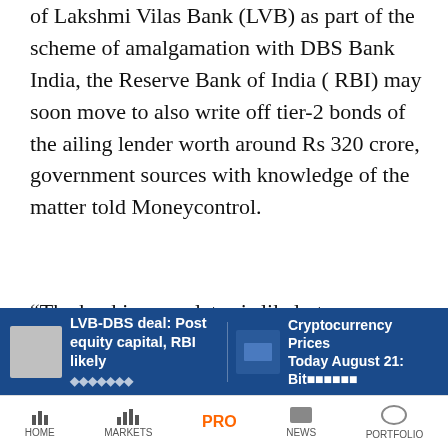of Lakshmi Vilas Bank (LVB) as part of the scheme of amalgamation with DBS Bank India, the Reserve Bank of India ( RBI) may soon move to also write off tier-2 bonds of the ailing lender worth around Rs 320 crore, government sources with knowledge of the matter told Moneycontrol.
“The banking regulator is likely to soon communicate this decision to LVB,” one of the individuals cited above told Moneycontrol.
[Figure (screenshot): Moneycontrol advertisement banner with teal background showing the moneycontrol logo and headline text 'INDIA'S DELAYED HOMES']
[Figure (screenshot): Bottom notification bar with two article teasers: 'LVB-DBS deal: Post equity capital, RBI likely...' and 'Cryptocurrency Prices Today August 21: Bit...']
[Figure (screenshot): Mobile app navigation bar with HOME, MARKETS, PRO, NEWS, PORTFOLIO icons]